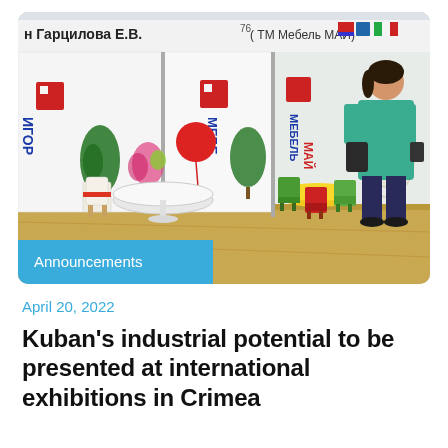[Figure (photo): Photo of a furniture exhibition hall with multiple vendor booths. Signs in Russian are visible: 'Гарцилова Е.В.', 'ТМ Мебель МАЙ'. Booths display furniture including colorful chairs, white round tables, and wicker seating. A woman in a teal sweater stands on the right looking at her phone. A red balloon and flowers decorate one booth. A blue banner overlay in the bottom-left reads 'Announcements'.]
Announcements
April 20, 2022
Kuban's industrial potential to be presented at international exhibitions in Crimea